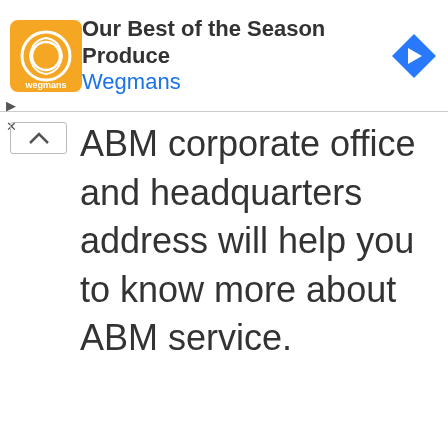[Figure (other): Wegmans advertisement banner with logo, title 'Our Best of the Season Produce', link 'Wegmans', and navigation arrow icon]
ABM corporate office and headquarters address will help you to know more about ABM service.